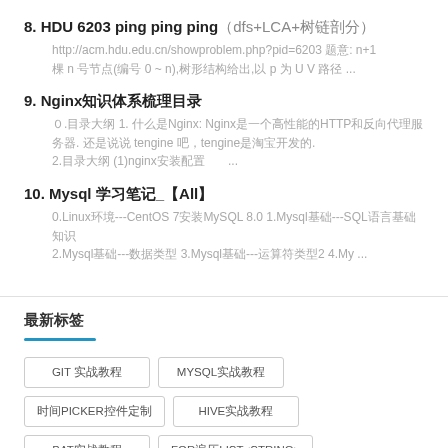8. HDU 6203 ping ping ping（dfs+LCA+树链剖分）
http://acm.hdu.edu.cn/showproblem.php?pid=6203 题意: n+1 棵 n 号节点(编号 0 ~ n),树形结构给出,以 p 为 U V 路径 ...
9. Nginx知识体系梳理目录
０.目录大纲 1. 什么是Nginx: Nginx是一个高性能的HTTP和反向代理服务器. 还是说说 tengine 吧，tengine是淘宝开发的. 2.目录大纲 (1)nginx安装配置   ...
10. Mysql 学习笔记_【All】
0.Linux环境---CentOS 7安装MySQL 8.0 1.Mysql基础---SQL语言基础知识 2.Mysql基础---数据类型 3.Mysql基础---运算符类型2 4.My ...
最新标签
GIT 实战教程
MYSQL实战教程
时间PICKER控件定制
HIVE实战教程
BAT实战教程
FOR遍历LIST<STRING>